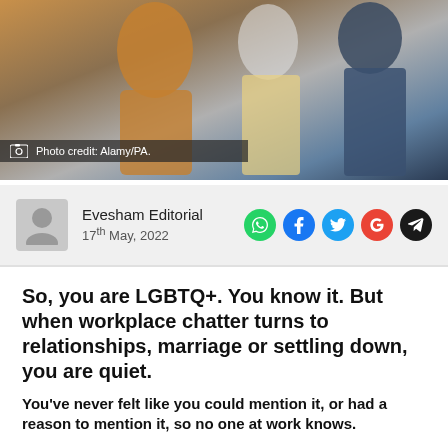[Figure (photo): Photograph of people, cropped. Shows two or three figures, one in a yellow top and one in a dark denim jacket.]
Photo credit: Alamy/PA.
Evesham Editorial
17th May, 2022
So, you are LGBTQ+. You know it. But when workplace chatter turns to relationships, marriage or settling down, you are quiet.
You've never felt like you could mention it, or had a reason to mention it, so no one at work knows.
Football has suffered from a serious homophobia problem for a long time and when Justin Fashanu came out 32 years ago he faced widespread backlash and abuse. Now, Blackpool forward Jake Daniels has become an overnight inspiration – coming out as the only openly gay professional player in Britain at the age of 17.